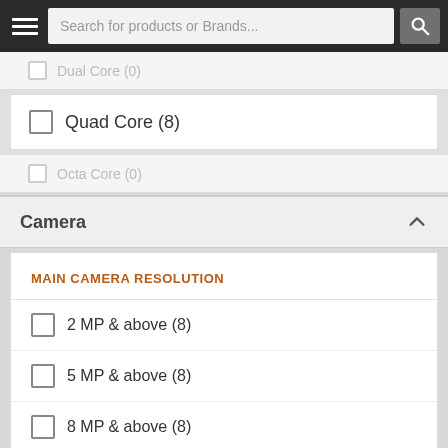Search for products or Brands...
Dual Core (0)
Quad Core (8)
Octa Core (0)
Camera
MAIN CAMERA RESOLUTION
2 MP & above (8)
5 MP & above (8)
8 MP & above (8)
12 MP & above (0)